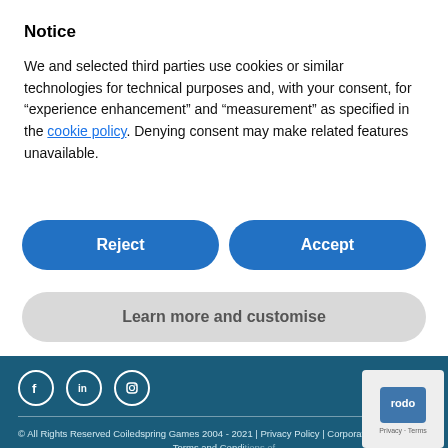Notice
We and selected third parties use cookies or similar technologies for technical purposes and, with your consent, for “experience enhancement” and “measurement” as specified in the cookie policy. Denying consent may make related features unavailable.
[Figure (other): Reject and Accept buttons (blue rounded rectangles)]
[Figure (other): Learn more and customise button (grey rounded rectangle)]
© All Rights Reserved Coiledspring Games 2004 - 2021 | Privacy Policy | Corporate Tax Strategy | Terms and Conditions of Sale